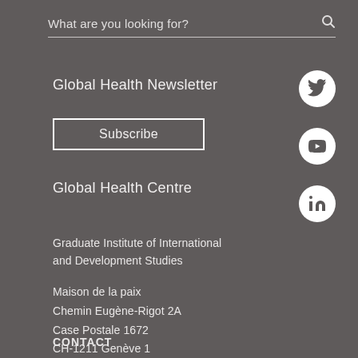What are you looking for?
Global Health Newsletter
Subscribe
Global Health Centre
[Figure (logo): Twitter bird icon in white circle]
[Figure (logo): YouTube play button icon in white circle]
[Figure (logo): LinkedIn 'in' icon in white circle]
Graduate Institute of International and Development Studies
Maison de la paix
Chemin Eugène-Rigot 2A
Case Postale 1672
CH-1211 Genève 1
CONTACT